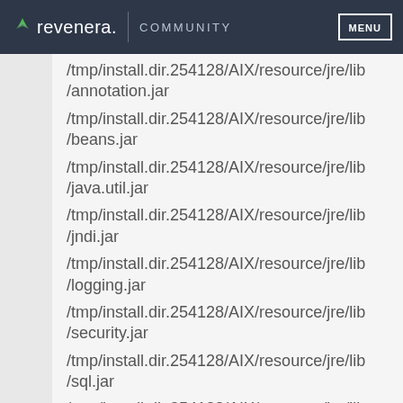revenera. COMMUNITY MENU
/tmp/install.dir.254128/AIX/resource/jre/lib/annotation.jar
/tmp/install.dir.254128/AIX/resource/jre/lib/beans.jar
/tmp/install.dir.254128/AIX/resource/jre/lib/java.util.jar
/tmp/install.dir.254128/AIX/resource/jre/lib/jndi.jar
/tmp/install.dir.254128/AIX/resource/jre/lib/logging.jar
/tmp/install.dir.254128/AIX/resource/jre/lib/security.jar
/tmp/install.dir.254128/AIX/resource/jre/lib/sql.jar
/tmp/install.dir.254128/AIX/resource/jre/lib